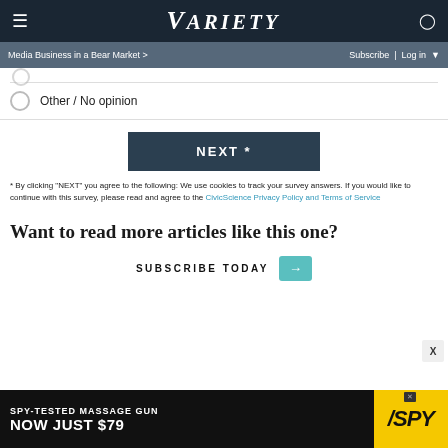VARIETY
Media Business in a Bear Market > | Subscribe | Log in
Other / No opinion
[Figure (other): NEXT * button (dark blue/teal background, white bold text)]
* By clicking "NEXT" you agree to the following: We use cookies to track your survey answers. If you would like to continue with this survey, please read and agree to the CivicScience Privacy Policy and Terms of Service
Want to read more articles like this one?
SUBSCRIBE TODAY →
[Figure (infographic): Advertisement banner: SPY-TESTED MASSAGE GUN NOW JUST $79 with SPY logo on yellow background]